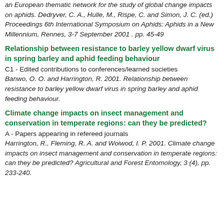an European thematic network for the study of global change impacts on aphids. Dedryver, C. A., Hulle, M., Rispe, C. and Simon, J. C. (ed.) Proceedings 6th International Symposium on Aphids: Aphids in a New Millennium, Rennes, 3-7 September 2001 . pp. 45-49
Relationship between resistance to barley yellow dwarf virus in spring barley and aphid feeding behaviour
C1 - Edited contributions to conferences/learned societies
Banwo, O. O. and Harrington, R. 2001. Relationship between resistance to barley yellow dwarf virus in spring barley and aphid feeding behaviour.
Climate change impacts on insect management and conservation in temperate regions: can they be predicted?
A - Papers appearing in refereed journals
Harrington, R., Fleming, R. A. and Woiwod, I. P. 2001. Climate change impacts on insect management and conservation in temperate regions: can they be predicted? Agricultural and Forest Entomology, 3 (4), pp. 233-240.